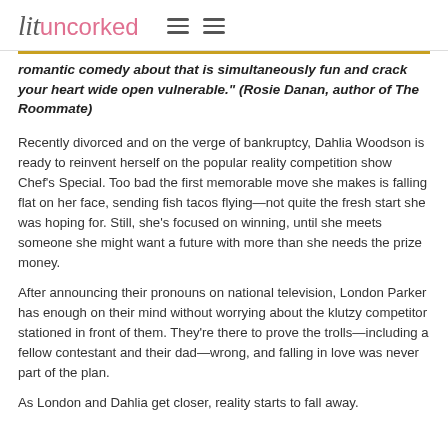lit uncorked
romantic comedy about that is simultaneously fun and crack your heart wide open vulnerable." (Rosie Danan, author of The Roommate)
Recently divorced and on the verge of bankruptcy, Dahlia Woodson is ready to reinvent herself on the popular reality competition show Chef's Special. Too bad the first memorable move she makes is falling flat on her face, sending fish tacos flying—not quite the fresh start she was hoping for. Still, she's focused on winning, until she meets someone she might want a future with more than she needs the prize money.
After announcing their pronouns on national television, London Parker has enough on their mind without worrying about the klutzy competitor stationed in front of them. They're there to prove the trolls—including a fellow contestant and their dad—wrong, and falling in love was never part of the plan.
As London and Dahlia get closer, reality starts to fall away.